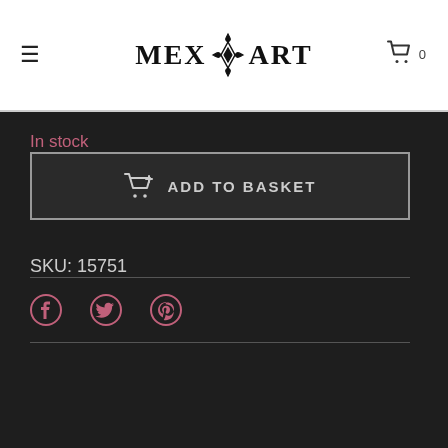MEX ART — navigation header with menu icon, logo, and cart (0)
In stock
ADD TO BASKET
SKU: 15751
[Figure (infographic): Social media sharing icons: Facebook, Twitter, Pinterest]